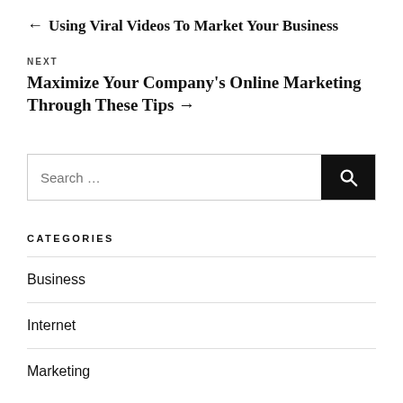← Using Viral Videos To Market Your Business
NEXT
Maximize Your Company's Online Marketing Through These Tips →
Search …
CATEGORIES
Business
Internet
Marketing